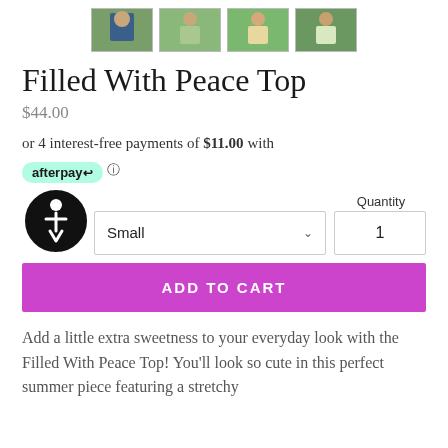[Figure (photo): Four product thumbnail images of the Filled With Peace Top shown on models outdoors]
Filled With Peace Top
$44.00
or 4 interest-free payments of $11.00 with afterpay
[Figure (logo): Afterpay logo badge in mint green with arrows icon]
[Figure (illustration): Accessibility icon — black circle with person/wheelchair symbol inside]
Quantity
Small
1
ADD TO CART
Add a little extra sweetness to your everyday look with the Filled With Peace Top! You'll look so cute in this perfect summer piece featuring a stretchy